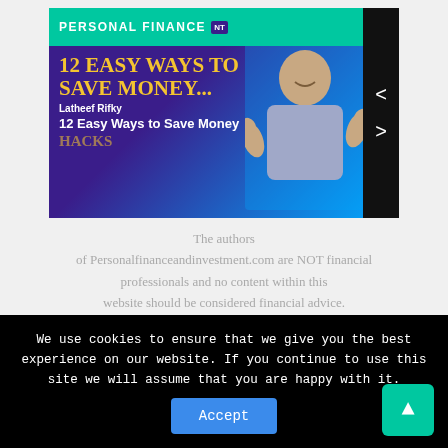[Figure (screenshot): Thumbnail image for '12 Easy Ways to Save Money' personal finance video/article. Purple and blue gradient background with green top bar labeled 'PERSONAL FINANCE', golden text '12 EASY WAYS TO SAVE MONEY...' and 'MONEY SAVING HACKS', author 'Latheef Rifky', subtitle '12 Easy Ways to Save Money', and a man giving thumbs up on the right side. Navigation arrows on right.]
The authors of Personalfinanceandinvestment.com are NOT financial professionals and no content within this website should be considered financial advice. Please consult a certified financial expert before attempting any of the ideas dscribed in this website. Please read the disclaimer for more information.
We use cookies to ensure that we give you the best experience on our website. If you continue to use this site we will assume that you are happy with it.